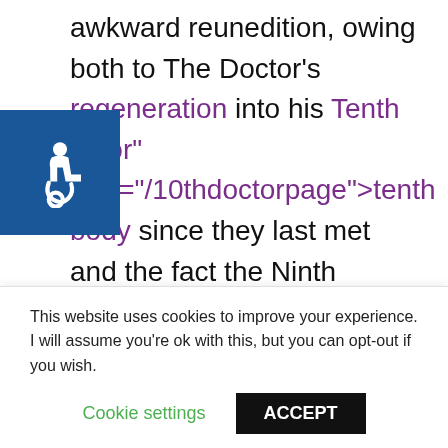awkward reunedition, owing both to The Doctor's regeneration into his Tenth Doctor" href="/10thdoctorpage">tenth body since they last met and the fact the Ninth Doctor had seemingly abandoned him on Satellite Five. Before long The Doctor admitted that he had run from Jack because his unique nature as a living temporal anomaly made the Time
This website uses cookies to improve your experience. I will assume you're ok with this, but you can opt-out if you wish.
Cookie settings    ACCEPT